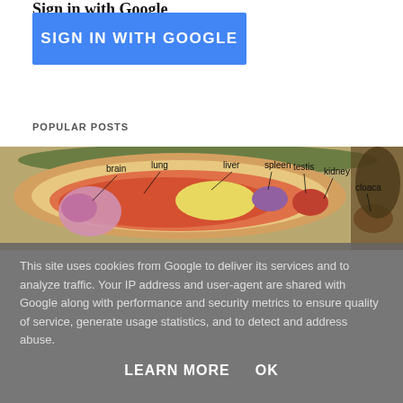Sign in with Google
[Figure (screenshot): Blue 'SIGN IN WITH GOOGLE' button]
POPULAR POSTS
[Figure (illustration): Anatomical cross-section diagram of a reptile/turtle showing labeled internal organs: brain, lung, liver, spleen, testis, kidney, cloaca]
This site uses cookies from Google to deliver its services and to analyze traffic. Your IP address and user-agent are shared with Google along with performance and security metrics to ensure quality of service, generate usage statistics, and to detect and address abuse.
LEARN MORE    OK